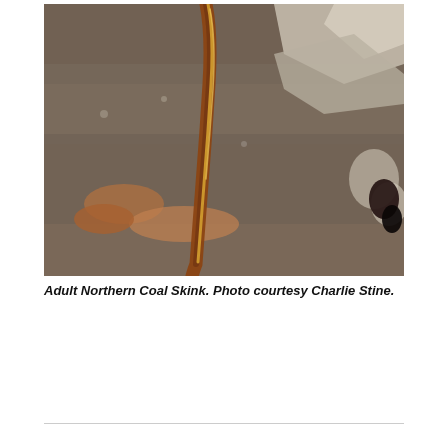[Figure (photo): Close-up photograph of an Adult Northern Coal Skink lizard on rocky substrate. The skink has a reddish-brown body with a stripe running along its length, lying on textured gray-brown rock surface. Rocky white/gray mineral formations visible in upper right.]
Adult Northern Coal Skink. Photo courtesy Charlie Stine.